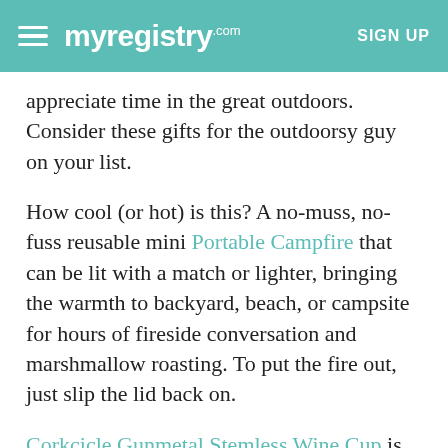myregistry.com  SIGN UP
appreciate time in the great outdoors. Consider these gifts for the outdoorsy guy on your list.
How cool (or hot) is this? A no-muss, no-fuss reusable mini Portable Campfire that can be lit with a match or lighter, bringing the warmth to backyard, beach, or campsite for hours of fireside conversation and marshmallow roasting. To put the fire out, just slip the lid back on.
Corkcicle Gunmetal Stemless Wine Cup is triple-insulated to keep white wine and spritzers cold for up to nine hours, spiked cider and hot chocolate warm for three hours—or just make it easy to drink wine outdoors or on-the-go without worry about breaking a